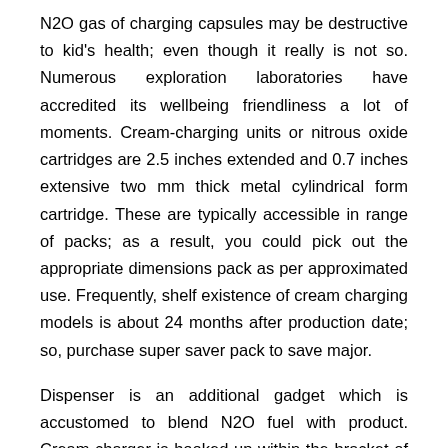N2O gas of charging capsules may be destructive to kid's health; even though it really is not so. Numerous exploration laboratories have accredited its wellbeing friendliness a lot of moments. Cream-charging units or nitrous oxide cartridges are 2.5 inches extended and 0.7 inches extensive two mm thick metal cylindrical form cartridge. These are typically accessible in range of packs; as a result, you could pick out the appropriate dimensions pack as per approximated use. Frequently, shelf existence of cream charging models is about 24 months after production date; so, purchase super saver pack to save major.
Dispenser is an additional gadget which is accustomed to blend N2O fuel with product. Cream-charger is hooked up within the bracket of product dispenser. The cream with a mix by proportion of cream and flavor is lobed within the